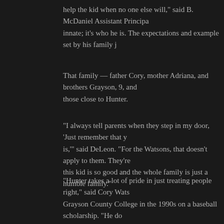help the kid when no one else will," said B. McDaniel Assistant Principa… innate; it's who he is. The expectations and example set by his family j…
That family — father Cory, mother Adriana, and brothers Grayson, 9, and… those close to Hunter.
"I always tell parents when they step in my door, 'Just remember that y… is,'" said DeLeon. "For the Watsons, that doesn't apply to them. They're… this kid is so good and the whole family is just a humble family."
"Hunter takes a lot of pride in just treating people right," said Cory Wats… Grayson County College in the 1990s on a baseball scholarship. "He do… anybody else. He's a genuine person and just treats people right. And th… we really appreciate about him. It's just his nature. He's a softhearted k…
It's that combination — "Aw shucks," North Texas humility and work eth… frame of a cruiserweight boxer and a compact, powerful swing that tw… Thomas labeled "sweet" — that makes the ceiling for Hunter Watson a…